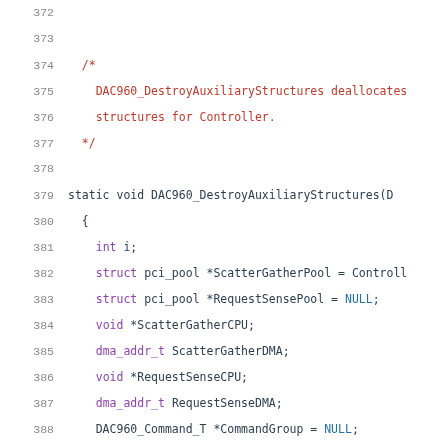372 (blank)
373 (blank)
374     /*
375       DAC960_DestroyAuxiliaryStructures deallocates
376       structures for Controller.
377     */
378 (blank)
379     static void DAC960_DestroyAuxiliaryStructures(D
380     {
381       int i;
382       struct pci_pool *ScatterGatherPool = Controll
383       struct pci_pool *RequestSensePool = NULL;
384       void *ScatterGatherCPU;
385       dma_addr_t ScatterGatherDMA;
386       void *RequestSenseCPU;
387       dma_addr_t RequestSenseDMA;
388       DAC960_Command_T *CommandGroup = NULL;
389 (blank)
390 (blank)
391       if (Controller->FirmwareType == DAC960_V2_Con
392           RequestSensePool = Controller->V2.Reque
393 (blank/cut)